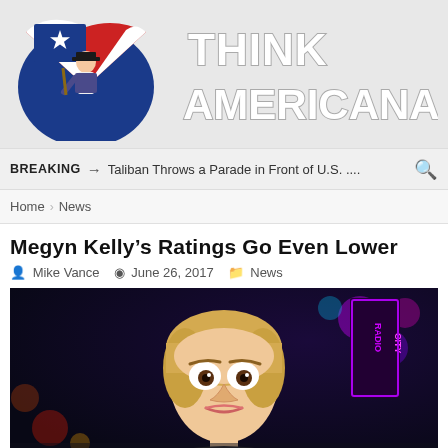[Figure (logo): Think Americana logo with patriot figure holding rifle in front of American flag fan, with bold text 'THINK AMERICANA' in silver/grey outlined letters]
BREAKING → Taliban Throws a Parade in Front of U.S. ....
Home > News
Megyn Kelly's Ratings Go Even Lower
Mike Vance   June 26, 2017   News
[Figure (photo): Photo of a blonde woman with short hair and wide eyes, in front of a bokeh background showing Radio City Music Hall neon signs and colorful city lights]